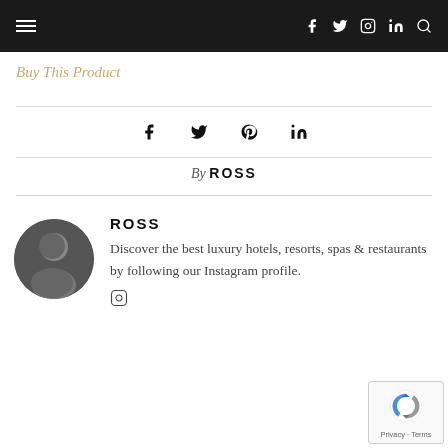Navigation bar with hamburger menu and social icons (f, twitter, instagram, linkedin, search)
Buy This Product
[Figure (infographic): Social sharing icons row: facebook, twitter, pinterest, linkedin]
By ROSS
ROSS
Discover the best luxury hotels, resorts, spas & restaurants by following our Instagram profile.
[Figure (logo): Instagram icon link]
[Figure (other): reCAPTCHA badge with Privacy - Terms text]